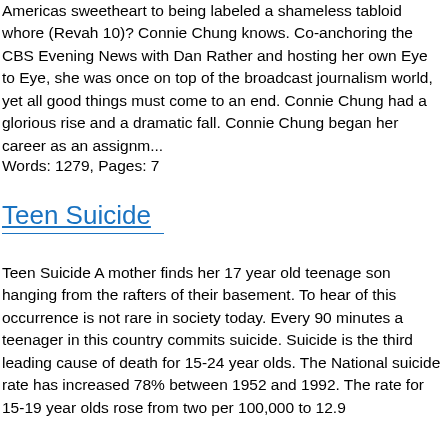Americas sweetheart to being labeled a shameless tabloid whore (Revah 10)? Connie Chung knows. Co-anchoring the CBS Evening News with Dan Rather and hosting her own Eye to Eye, she was once on top of the broadcast journalism world, yet all good things must come to an end. Connie Chung had a glorious rise and a dramatic fall. Connie Chung began her career as an assignm...
Words: 1279, Pages: 7
Teen Suicide
Teen Suicide A mother finds her 17 year old teenage son hanging from the rafters of their basement. To hear of this occurrence is not rare in society today. Every 90 minutes a teenager in this country commits suicide. Suicide is the third leading cause of death for 15-24 year olds. The National suicide rate has increased 78% between 1952 and 1992. The rate for 15-19 year olds rose from two per 100,000 to 12.9